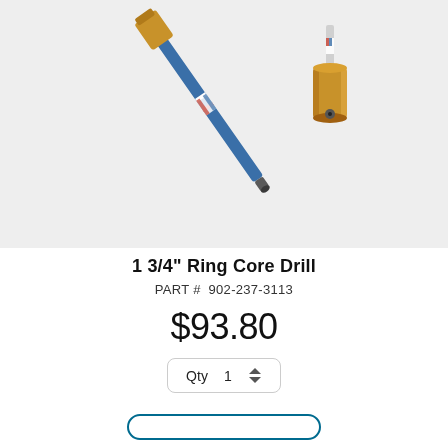[Figure (photo): Two brass ring core drill bits on a light gray background. The left one is lying diagonally showing the full blue-coated shaft with a USA flag label and brass hex-nut fitting. The right one stands upright showing the hex brass body with the drill tip visible at top.]
1 3/4" Ring Core Drill
PART # 902-237-3113
$93.80
Qty 1